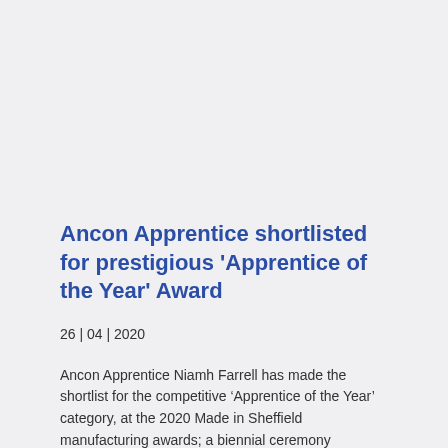Ancon Apprentice shortlisted for prestigious 'Apprentice of the Year' Award
26 | 04 | 2020
Ancon Apprentice Niamh Farrell has made the shortlist for the competitive ‘Apprentice of the Year’ category, at the 2020 Made in Sheffield manufacturing awards; a biennial ceremony celebrating excellence in manufacturing in the